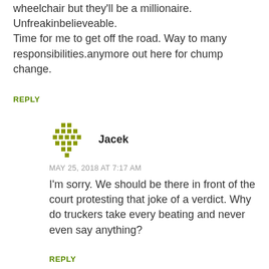wheelchair but they'll be a millionaire. Unfreakinbelieveable.
Time for me to get off the road. Way to many responsibilities.anymore out here for chump change.
REPLY
[Figure (illustration): Pixelated avatar icon in olive/yellow-green dots pattern]
Jacek
MAY 25, 2018 AT 7:17 AM
I'm sorry. We should be there in front of the court protesting that joke of a verdict. Why do truckers take every beating and never even say anything?
REPLY
[Figure (illustration): Pixelated avatar icon in olive/yellow-green dots pattern]
Jacek